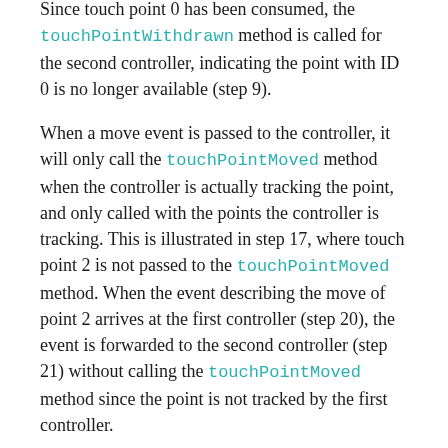Since touch point 0 has been consumed, the touchPointWithdrawn method is called for the second controller, indicating the point with ID 0 is no longer available (step 9).
When a move event is passed to the controller, it will only call the touchPointMoved method when the controller is actually tracking the point, and only called with the points the controller is tracking. This is illustrated in step 17, where touch point 2 is not passed to the touchPointMoved method. When the event describing the move of point 2 arrives at the first controller (step 20), the event is forwarded to the second controller (step 21) without calling the touchPointMoved method since the point is not tracked by the first controller.
When touch point 1 is removed (step 24), the touchPointWithDrawn is called. The controller indicates in step 25 it will no longer track point 0 (since it can only handle two points), hence the event forwarded to the second controller indicates point 0 is no longer consumed (step 26). Since point 0 now becomes available, the touchPointAvailable is called